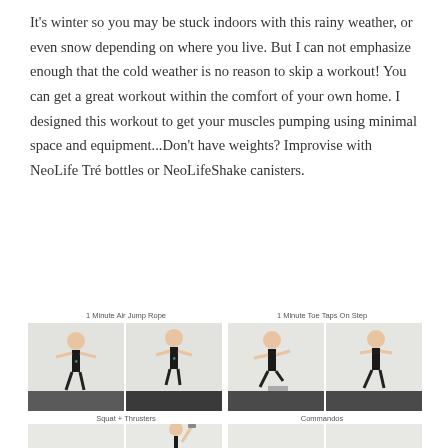It's winter so you may be stuck indoors with this rainy weather, or even snow depending on where you live. But I can not emphasize enough that the cold weather is no reason to skip a workout! You can get a great workout within the comfort of your own home. I designed this workout to get your muscles pumping using minimal space and equipment...Don't have weights? Improvise with NeoLife Tré bottles or NeoLifeShake canisters.
[Figure (infographic): AT-HOME CALORIE BURNER WORKOUT banner with light green background, subtitle '8-12 Reps // 3-4 Sets', followed by exercise photos: 1 Minute Air Jump Rope (two photos of man doing jump rope), 1 Minute Toe Taps On Step (two photos of man doing toe taps), Squat + Thrusters (partial photos at bottom), Commandos (partial photos at bottom)]